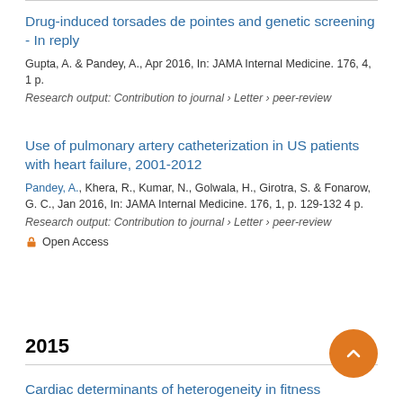Drug-induced torsades de pointes and genetic screening - In reply
Gupta, A. & Pandey, A., Apr 2016, In: JAMA Internal Medicine. 176, 4, 1 p.
Research output: Contribution to journal › Letter › peer-review
Use of pulmonary artery catheterization in US patients with heart failure, 2001-2012
Pandey, A., Khera, R., Kumar, N., Golwala, H., Girotra, S. & Fonarow, G. C., Jan 2016, In: JAMA Internal Medicine. 176, 1, p. 129-132 4 p.
Research output: Contribution to journal › Letter › peer-review
Open Access
2015
Cardiac determinants of heterogeneity in fitness